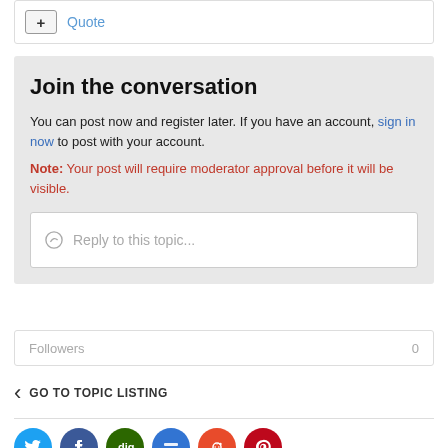[Figure (screenshot): Quote button with plus icon and Quote link]
Join the conversation
You can post now and register later. If you have an account, sign in now to post with your account.
Note: Your post will require moderator approval before it will be visible.
[Figure (screenshot): Reply to this topic text input box]
Followers 0
GO TO TOPIC LISTING
[Figure (infographic): Social media share icons: Twitter, Facebook, Digg, Delicious, Reddit, Pinterest]